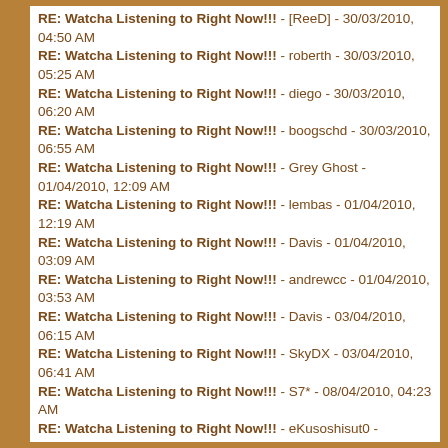RE: Watcha Listening to Right Now!!! - [ReeD] - 30/03/2010, 04:50 AM
RE: Watcha Listening to Right Now!!! - roberth - 30/03/2010, 05:25 AM
RE: Watcha Listening to Right Now!!! - diego - 30/03/2010, 06:20 AM
RE: Watcha Listening to Right Now!!! - boogschd - 30/03/2010, 06:55 AM
RE: Watcha Listening to Right Now!!! - Grey Ghost - 01/04/2010, 12:09 AM
RE: Watcha Listening to Right Now!!! - lembas - 01/04/2010, 12:19 AM
RE: Watcha Listening to Right Now!!! - Davis - 01/04/2010, 03:09 AM
RE: Watcha Listening to Right Now!!! - andrewcc - 01/04/2010, 03:53 AM
RE: Watcha Listening to Right Now!!! - Davis - 03/04/2010, 06:15 AM
RE: Watcha Listening to Right Now!!! - SkyDX - 03/04/2010, 06:41 AM
RE: Watcha Listening to Right Now!!! - S7* - 08/04/2010, 04:23 AM
RE: Watcha Listening to Right Now!!! - eKusoshisut0 - 08/04/2010, 05:19 AM
RE: Watcha Listening to Right Now!!! - S7* - 08/04/2010, 05:42 AM
RE: Watcha Listening to Right Now!!! - S7* - 09/04/2010, 12:11 PM
RE: Watcha Listening to Right Now!!! - Vacui Natale - 09/04/2010, 12:14 PM
RE: Watcha Listening to Right Now!!! - Davis - 09/04/2010, 12:24 PM
RE: Watcha Listening to Right Now!!! - eKusoshisut0 - 09/04/2010, 05:09 PM
RE: Watcha Listening to Right Now!!! - Davis - 09/04/2010, 07:31 PM
RE: Watcha Listening to Right Now!!! - Syfe - 09/04/2010, 07:34 PM